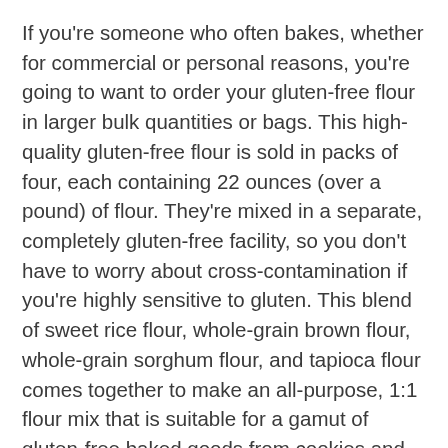If you're someone who often bakes, whether for commercial or personal reasons, you're going to want to order your gluten-free flour in larger bulk quantities or bags. This high-quality gluten-free flour is sold in packs of four, each containing 22 ounces (over a pound) of flour. They're mixed in a separate, completely gluten-free facility, so you don't have to worry about cross-contamination if you're highly sensitive to gluten. This blend of sweet rice flour, whole-grain brown flour, whole-grain sorghum flour, and tapioca flour comes together to make an all-purpose, 1:1 flour mix that is suitable for a gamut of gluten-free baked goods from cookies and brownies to pancakes and muffins and more. It'll also work in more savory foods like gravies and homemade pasta. The xanthan gum and potato starch help your baked goods keep their structural integrity and texture without falling apart at one touch. You won't have to add any specialty ingredients or customize your recipes when